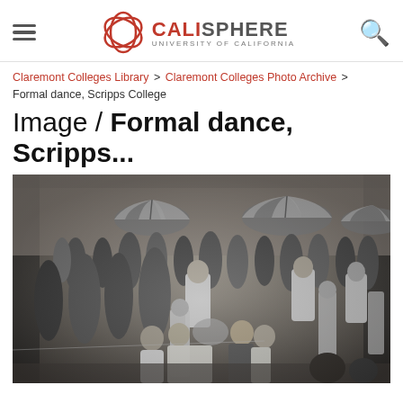CALISPHERE — UNIVERSITY OF CALIFORNIA
Claremont Colleges Library > Claremont Colleges Photo Archive > Formal dance, Scripps College
Image / Formal dance, Scripps...
[Figure (photo): Black and white photograph of a formal dance at Scripps College. A large crowd of couples dancing in formal attire (women in long gowns, men in white jackets/suits). Striped beach umbrellas visible in the background. Photo taken from slightly elevated vantage point.]